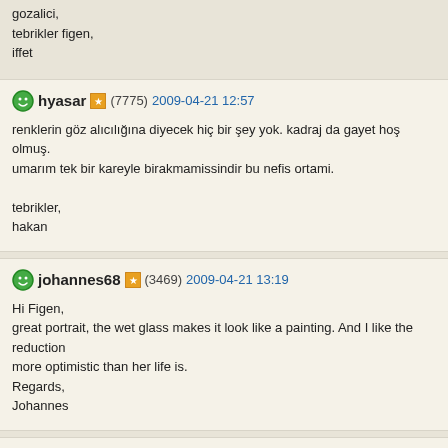gozalici,
tebrikler figen,
iffet
hyasar (7775) 2009-04-21 12:57

renklerin göz alıcılığına diyecek hiç bir şey yok. kadraj da gayet hoş olmuş. umarım tek bir kareyle birakmamissindir bu nefis ortami.

tebrikler,
hakan
johannes68 (3469) 2009-04-21 13:19

Hi Figen,
great portrait, the wet glass makes it look like a painting. And I like the reduction more optimistic than her life is.
Regards,
Johannes
pauloog (11751) 2009-04-21 13:35

Hello Figen,
A very human portrait with a story, looks like she lives in a world of tears...
Well captured with contrasting patches of colours, and the blurred portrait...